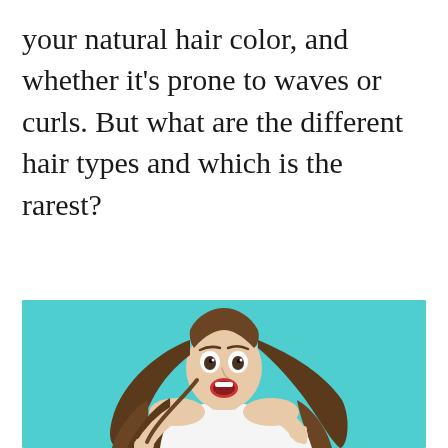your natural hair color, and whether it's prone to waves or curls. But what are the different hair types and which is the rarest?
[Figure (photo): A surprised young woman with long, wavy brown hair, wearing a white sleeveless top, pointing at a strand of her hair. She is photographed against a teal/turquoise background.]